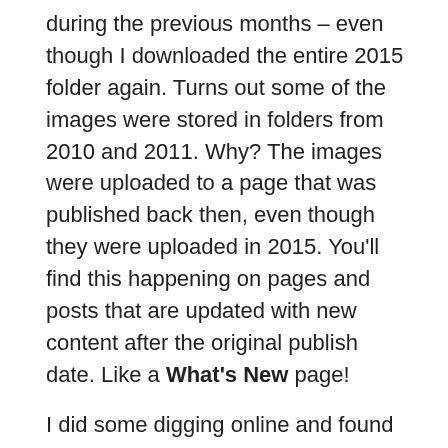during the previous months – even though I downloaded the entire 2015 folder again. Turns out some of the images were stored in folders from 2010 and 2011. Why? The images were uploaded to a page that was published back then, even though they were uploaded in 2015. You'll find this happening on pages and posts that are updated with new content after the original publish date. Like a What's New page!
I did some digging online and found a post from Gareth JM Saunders about uploading media to old posts that confirms this behavior.
Whether is it a feature or a bug is debatable, especially on pages – as their published date is not